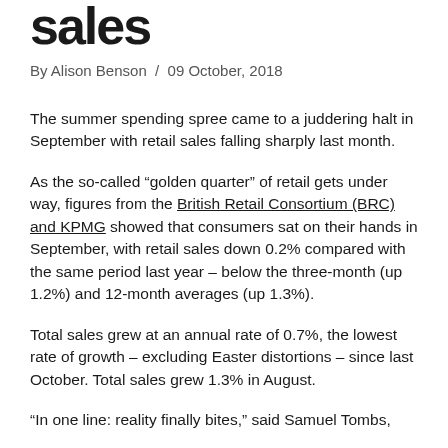sales
By Alison Benson / 09 October, 2018
The summer spending spree came to a juddering halt in September with retail sales falling sharply last month.
As the so-called “golden quarter” of retail gets under way, figures from the British Retail Consortium (BRC) and KPMG showed that consumers sat on their hands in September, with retail sales down 0.2% compared with the same period last year – below the three-month (up 1.2%) and 12-month averages (up 1.3%).
Total sales grew at an annual rate of 0.7%, the lowest rate of growth – excluding Easter distortions – since last October. Total sales grew 1.3% in August.
“In one line: reality finally bites,” said Samuel Tombs,